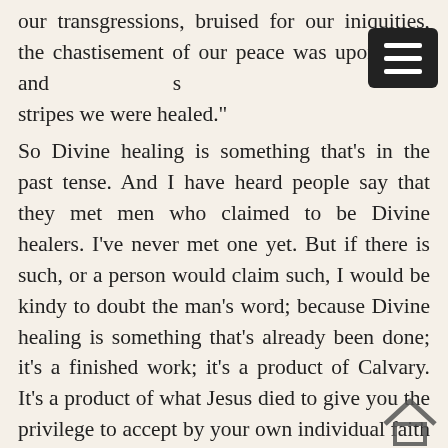our transgressions, bruised for our iniquities, the chastisement of our peace was upon Him, and with His stripes we were healed."
So Divine healing is something that's in the past tense. And I have heard people say that they met men who claimed to be Divine healers. I've never met one yet. But if there is such, or a person would claim such, I would be kindy to doubt the man's word; because Divine healing is something that's already been done; it's a finished work; it's a product of Calvary. It's a product of what Jesus died to give you the privilege to accept by your own individual faith in Him.
E-6 And we have had many things that we realize... And if they're in a mixed audience like this, there's all kinds of people with different ideas. And Divine healing has, many times, been misrepresented. So has the Gospel in every means has been misrepresented. And every true thing has been misre—misrepresented.
We find that in the virtues of life and everywhere. And so